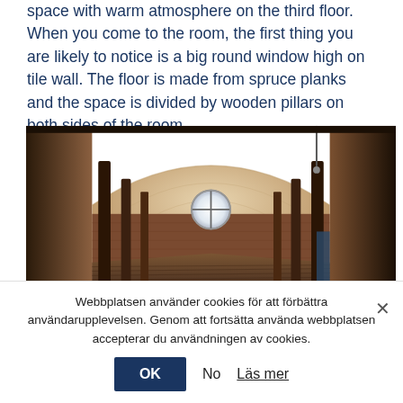space with warm atmosphere on the third floor. When you come to the room, the first thing you are likely to notice is a big round window high on tile wall. The floor is made from spruce planks and the space is divided by wooden pillars on both sides of the room.
[Figure (photo): Interior photograph of a room with a vaulted wooden ceiling, a round window in the center wall, dark wooden pillars on both sides, spruce plank floor, and brick walls.]
Webbplatsen använder cookies för att förbättra användarupplevelsen. Genom att fortsätta använda webbplatsen accepterar du användningen av cookies.